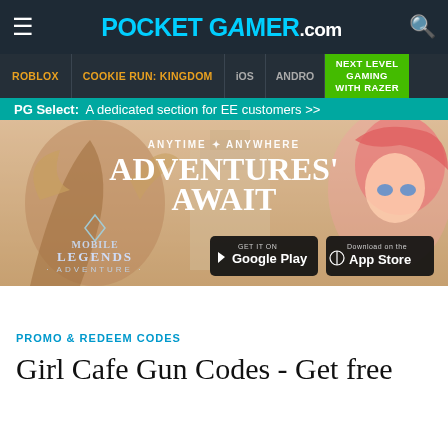POCKET GAMER.com
ROBLOX | COOKIE RUN: KINGDOM | iOS | ANDRO | NEXT LEVEL GAMING WITH RAZER
PG Select: A dedicated section for EE customers >>
[Figure (illustration): Mobile Legends Adventure advertisement banner with anime characters and text: ANYTIME ANYWHERE ADVENTURES AWAIT. Features Google Play and App Store download buttons.]
PROMO & REDEEM CODES
Girl Cafe Gun Codes - Get free